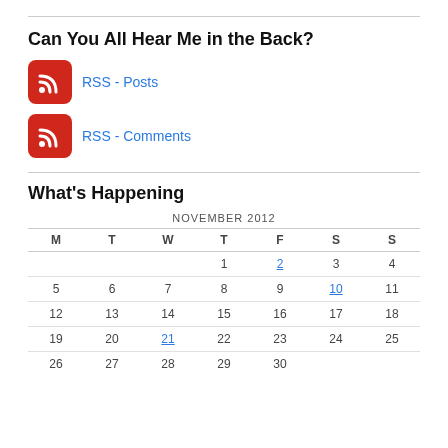Can You All Hear Me in the Back?
RSS - Posts
RSS - Comments
What's Happening
| M | T | W | T | F | S | S |
| --- | --- | --- | --- | --- | --- | --- |
|  |  |  | 1 | 2 | 3 | 4 |
| 5 | 6 | 7 | 8 | 9 | 10 | 11 |
| 12 | 13 | 14 | 15 | 16 | 17 | 18 |
| 19 | 20 | 21 | 22 | 23 | 24 | 25 |
| 26 | 27 | 28 | 29 | 30 |  |  |